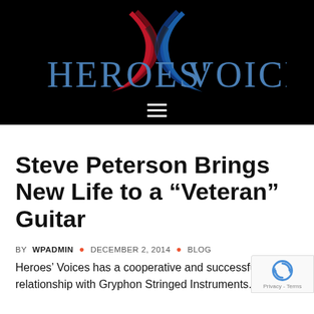[Figure (logo): Heroes' Voices logo with red and blue swoosh design on black background, with hamburger menu icon below]
Steve Peterson Brings New Life to a “Veteran” Guitar
BY WPADMIN • DECEMBER 2, 2014 • BLOG
Heroes’ Voices has a cooperative and successful relationship with Gryphon Stringed Instruments. Gryphon